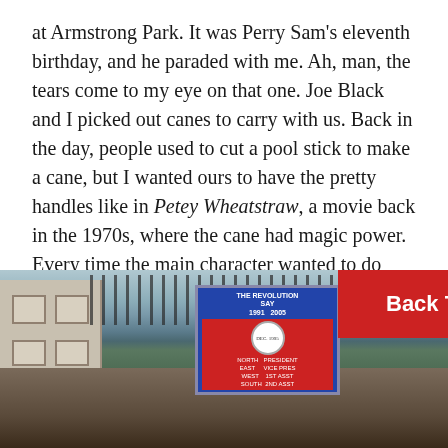at Armstrong Park. It was Perry Sam's eleventh birthday, and he paraded with me. Ah, man, the tears come to my eye on that one. Joe Black and I picked out canes to carry with us. Back in the day, people used to cut a pool stick to make a cane, but I wanted ours to have the pretty handles like in Petey Wheatstraw, a movie back in the 1970s, where the cane had magic power. Every time the main character wanted to do something he just held his stick up. You buy the cane one year you don't have to change it. Matter of fact, I still have mine. It means a whole lot to me.
[Figure (photo): Street parade photograph showing people marching with signs and banners. A red sign reads 'Back To The Top'. A blue and red banner is visible. Buildings and iron fencing visible in background.]